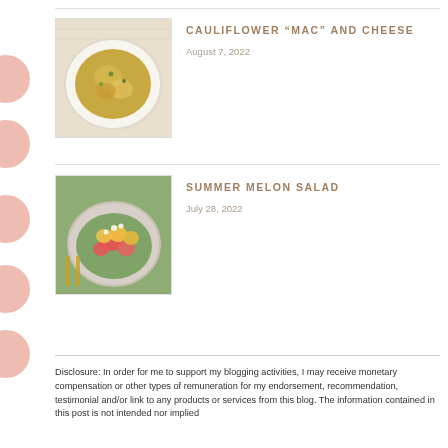[Figure (photo): Photo of cauliflower mac and cheese dish in a white bowl, viewed from above on a light background]
CAULIFLOWER “MAC” AND CHEESE
August 7, 2022
[Figure (photo): Photo of summer melon salad with colorful fruit and greens in a bowl with gold cutlery]
SUMMER MELON SALAD
July 28, 2022
Disclosure: In order for me to support my blogging activities, I may receive monetary compensation or other types of remuneration for my endorsement, recommendation, testimonial and/or link to any products or services from this blog. The information contained in this post is not intended nor implied